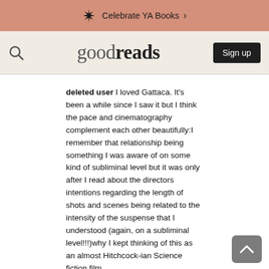Celebrate YA Books >
[Figure (screenshot): Goodreads navigation bar with search icon, goodreads logo, and Sign up button]
deleted user I loved Gattaca. It's been a while since I saw it but I think the pace and cinematography complement each other beautifully:I remember that relationship being something I was aware of on some kind of subliminal level but it was only after I read about the directors intentions regarding the length of shots and scenes being related to the intensity of the suspense that I understood (again, on a subliminal level!!!)why I kept thinking of this as an almost Hitchcock-ian Science fiction film.

I'm also reminded of Huxley's 'Brave New World' and the societal detachment that is necessary for both 'Utopia's' to survive.

Anyway, enough analysis, I'm off to watch 'Death race'!
13 years ago